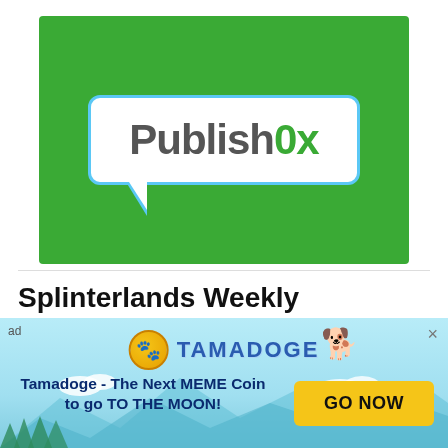[Figure (logo): Publish0x logo — white speech bubble with blue border containing 'Publish0x' text on a green background]
Splinterlands Weekly Challenge Battle! VENARI SPELLSMITH
2 minute read   jfang003   $0.03
Every week there is a Splinterlands challenge to share a battle using a specific card and on this week's post it is the Venari Spellsmith card. I also
[Figure (infographic): Tamadoge advertisement banner with light blue sky background, mountains, Tamadoge coin logo, dog mascot, text 'Tamadoge - The Next MEME Coin to go TO THE MOON!' and a yellow 'GO NOW' button]